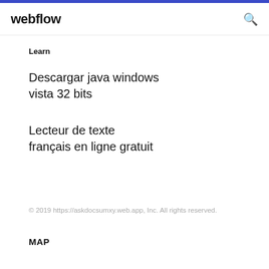webflow
Learn
Descargar java windows vista 32 bits
Lecteur de texte français en ligne gratuit
© 2019 https://askdocsumxy.web.app, Inc. All rights reserved.
MAP